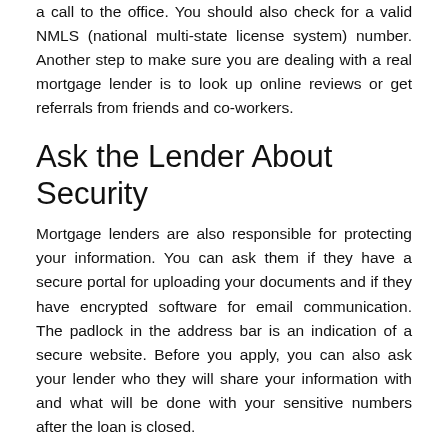a call to the office. You should also check for a valid NMLS (national multi-state license system) number. Another step to make sure you are dealing with a real mortgage lender is to look up online reviews or get referrals from friends and co-workers.
Ask the Lender About Security
Mortgage lenders are also responsible for protecting your information. You can ask them if they have a secure portal for uploading your documents and if they have encrypted software for email communication. The padlock in the address bar is an indication of a secure website. Before you apply, you can also ask your lender who they will share your information with and what will be done with your sensitive numbers after the loan is closed.
Create Strong Passwords
While its always a good idea to create strong, hard-to-guess internet passwords, this is especially important when you are applying for a mortgage. You will be sending all sorts of sensitive information through the ether of